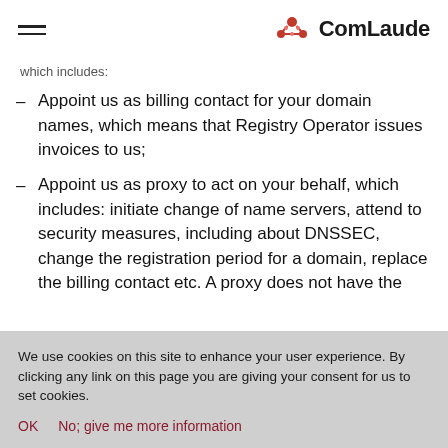ComLaude
which includes:
Appoint us as billing contact for your domain names, which means that Registry Operator issues invoices to us;
Appoint us as proxy to act on your behalf, which includes: initiate change of name servers, attend to security measures, including about DNSSEC, change the registration period for a domain, replace the billing contact etc. A proxy does not have the right to terminate
We use cookies on this site to enhance your user experience. By clicking any link on this page you are giving your consent for us to set cookies.
OK    No; give me more information